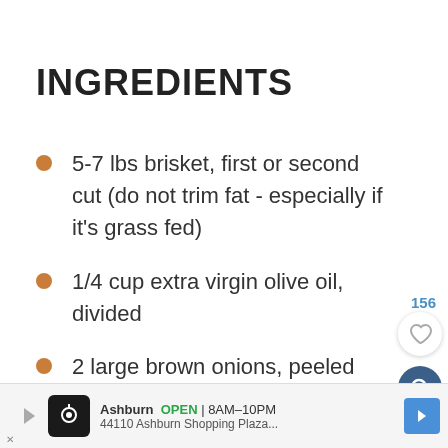INGREDIENTS
5-7 lbs brisket, first or second cut (do not trim fat - especially if it's grass fed)
1/4 cup extra virgin olive oil, divided
2 large brown onions, peeled and
Ashburn  OPEN | 8AM–10PM  44110 Ashburn Shopping Plaza...